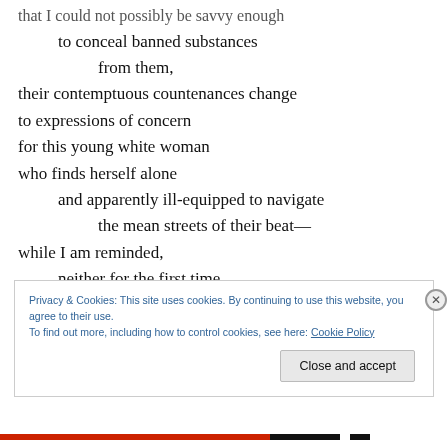that I could not possibly be savvy enough
    to conceal banned substances
        from them,
their contemptuous countenances change
to expressions of concern
for this young white woman
who finds herself alone
    and apparently ill-equipped to navigate
        the mean streets of their beat—
while I am reminded,
    neither for the first time
Privacy & Cookies: This site uses cookies. By continuing to use this website, you agree to their use.
To find out more, including how to control cookies, see here: Cookie Policy